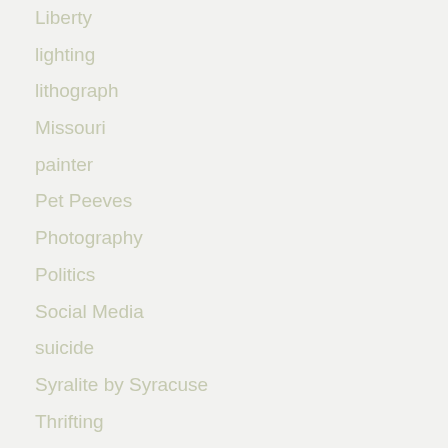Liberty
lighting
lithograph
Missouri
painter
Pet Peeves
Photography
Politics
Social Media
suicide
Syralite by Syracuse
Thrifting
Travel
Treasures
Uncategorized
Vaping